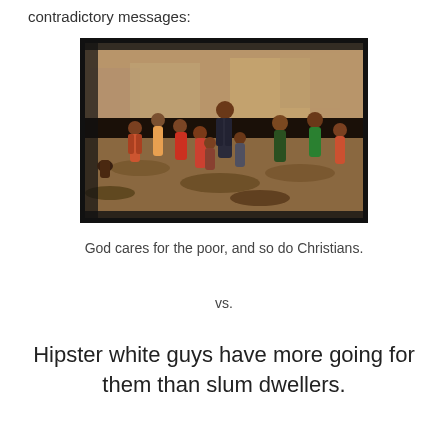contradictory messages:
[Figure (photo): A photograph showing a group of children and adults standing in a rubble-strewn, impoverished area with makeshift shelters in the background. The scene is dusty and has a sepia-brown tone. Multiple children of varying ages are visible, some in colorful clothing.]
God cares for the poor, and so do Christians.
vs.
Hipster white guys have more going for them than slum dwellers.